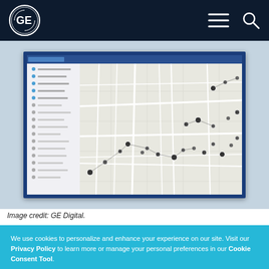GE logo, navigation menu icon, search icon
[Figure (screenshot): Screenshot of a GE Digital mapping/network software interface showing a city map with connected nodes and data points, displayed on a dark blue background]
Image credit: GE Digital.
We use cookies to personalize and enhance your experience on our site. Visit our Privacy Policy to learn more or manage your personal preferences in our Cookie Consent Tool.